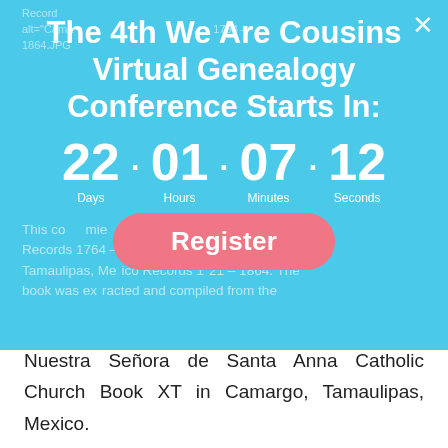[Figure (screenshot): A popup modal overlay on a website showing a countdown timer for 'The 4th We Are Cousins Virtual Genealogy Conference Starts In:' with 22 Days, 01 Hours, 07 Minutes, 12 Seconds, and a pink Register button. The modal is over a blue background. Behind and below the modal is white page text about Nuestra Senora de Santa Anna Catholic Church Book XT in Camargo, Tamaulipas, Mexico, and a paragraph about the book being valuable for researching the wife's family since records have not been indexed by FamilySearch.]
Nuestra Señora de Santa Anna Catholic Church Book XT in Camargo, Tamaulipas, Mexico.
I have personally found this book to be very valuable and has become indispensable in researching my wife's family since these records have not been indexed by FamilySearch.